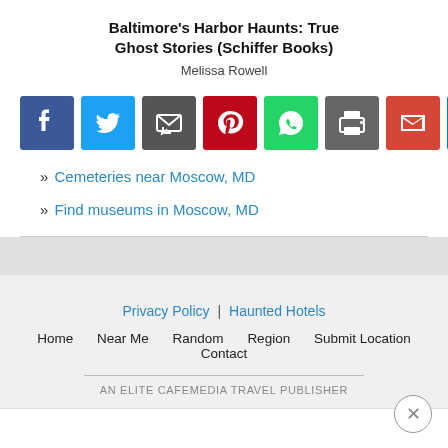Baltimore's Harbor Haunts: True Ghost Stories (Schiffer Books)
Melissa Rowell
[Figure (other): Row of social share buttons: Facebook, Twitter, Email, Pinterest, WhatsApp, Print, Gmail, LinkedIn, Google, More]
» Cemeteries near Moscow, MD
» Find museums in Moscow, MD
Privacy Policy | Haunted Hotels
Home   Near Me   Random   Region   Submit Location   Contact
AN ELITE CAFEMEDIA TRAVEL PUBLISHER